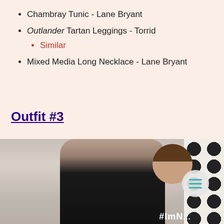Chambray Tunic - Lane Bryant
Outlander Tartan Leggings - Torrid
Similar
Mixed Media Long Necklace - Lane Bryant
Outfit #3
[Figure (photo): Woman wearing black t-shirt with '#ImN...' text, standing in front of a curtain backdrop with a black and white patterned panel on the right side]